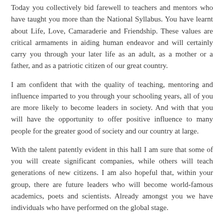Today you collectively bid farewell to teachers and mentors who have taught you more than the National Syllabus. You have learnt about Life, Love, Camaraderie and Friendship. These values are critical armaments in aiding human endeavor and will certainly carry you through your later life as an adult, as a mother or a father, and as a patriotic citizen of our great country.
I am confident that with the quality of teaching, mentoring and influence imparted to you through your schooling years, all of you are more likely to become leaders in society. And with that you will have the opportunity to offer positive influence to many people for the greater good of society and our country at large.
With the talent patently evident in this hall I am sure that some of you will create significant companies, while others will teach generations of new citizens. I am also hopeful that, within your group, there are future leaders who will become world-famous academics, poets and scientists. Already amongst you we have individuals who have performed on the global stage.